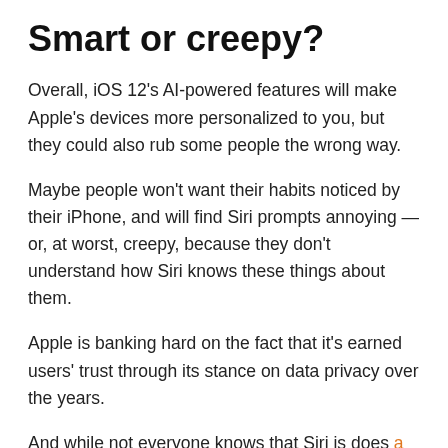Smart or creepy?
Overall, iOS 12's AI-powered features will make Apple's devices more personalized to you, but they could also rub some people the wrong way.
Maybe people won't want their habits noticed by their iPhone, and will find Siri prompts annoying — or, at worst, creepy, because they don't understand how Siri knows these things about them.
Apple is banking hard on the fact that it's earned users' trust through its stance on data privacy over the years.
And while not everyone knows that Siri is does a lot of its processing on your device, not in the cloud, many do seem to understand that Apple doesn't sell user data to advertisers to